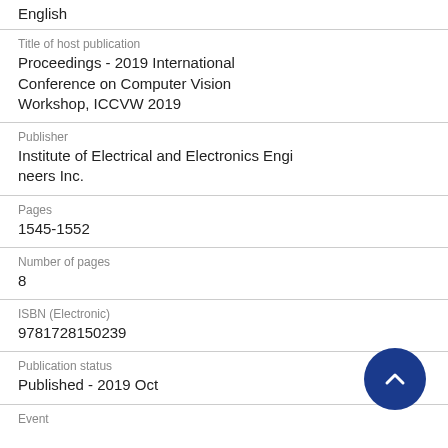English
Title of host publication
Proceedings - 2019 International Conference on Computer Vision Workshop, ICCVW 2019
Publisher
Institute of Electrical and Electronics Engineers Inc.
Pages
1545-1552
Number of pages
8
ISBN (Electronic)
9781728150239
Publication status
Published - 2019 Oct
Event